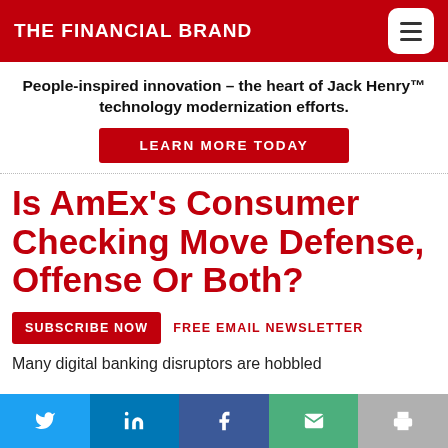THE FINANCIAL BRAND
People-inspired innovation – the heart of Jack Henry™ technology modernization efforts.
LEARN MORE TODAY
Is AmEx's Consumer Checking Move Defense, Offense Or Both?
SUBSCRIBE NOW   FREE EMAIL NEWSLETTER
Many digital banking disruptors are hobbled